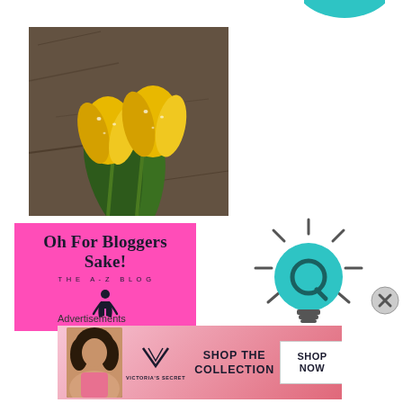[Figure (photo): Two yellow tulips with green leaves on a dark textured stone background, with water droplets on petals]
[Figure (logo): Pink magenta background logo reading 'Oh For Bloggers Sake! The A-Z Blog' with a small silhouette figure at bottom]
[Figure (illustration): Teal/cyan lightbulb with radiating lines icon, drawn in a sketch style]
[Figure (illustration): Partial teal arc/circle shape at top right corner]
[Figure (illustration): Close/X button circle at right side]
Advertisements
[Figure (illustration): Victoria's Secret advertisement banner: model with curly hair, VS logo, 'SHOP THE COLLECTION' text, and 'SHOP NOW' button]